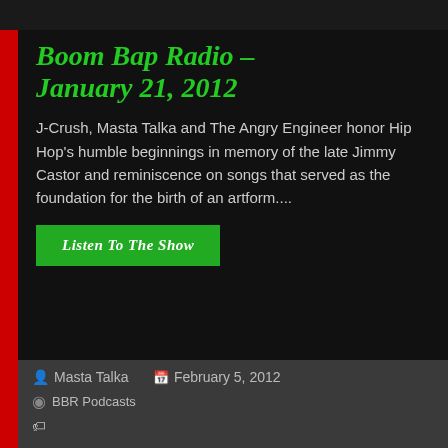Boom Bap Radio – January 21, 2012
J-Crush, Masta Talka and The Angry Engineer honor Hip Hop's humble beginnings in memory of the late Jimmy Castor and reminiscence on songs that served as the foundation for the birth of an artform....
Listen to the show
Masta Talka   February 5, 2012
BBR Podcasts
Afrika Bambaataa, Dougie Fresh, Fat Back Band, Grand Master Flash, Jimmy Castor, King Tim III, Kurtis Blow, Malcolm McLaren, Slick Rick, Sugar Hill Gang, Wildstyle